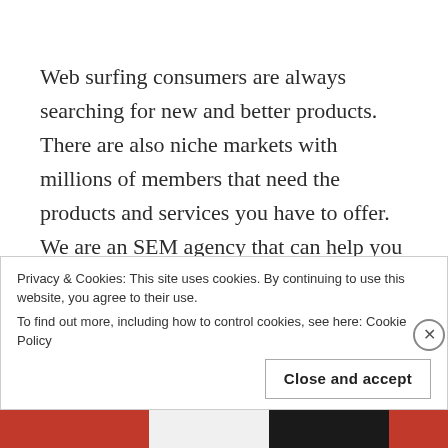Web surfing consumers are always searching for new and better products. There are also niche markets with millions of members that need the products and services you have to offer. We are an SEM agency that can help you to reach those underserved markets using our advanced digital marketing techniques. At CT Marketing Solutions we know the most innovative ways to use PPC and
Privacy & Cookies: This site uses cookies. By continuing to use this website, you agree to their use. To find out more, including how to control cookies, see here: Cookie Policy
Close and accept